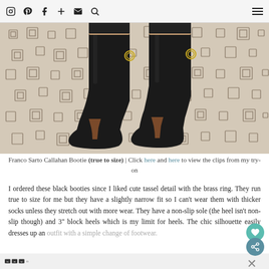Navigation bar with icons: Instagram, Pinterest, Facebook, Plus, Email, Search, Hamburger menu
[Figure (photo): Close-up photo of person wearing black leather Franco Sarto Callahan ankle booties with block heels, standing on a patterned cream and black geometric rug]
Franco Sarto Callahan Bootie (true to size) | Click here and here to view the clips from my try-on
I ordered these black booties since I liked cute tassel detail with the brass ring. They run true to size for me but they have a slightly narrow fit so I can't wear them with thicker socks unless they stretch out with more wear. They have a non-slip sole (the heel isn't non-slip though) and 3" block heels which is my limit for heels. The chic silhouette easily dresses up an outfit with a simple change of footwear.